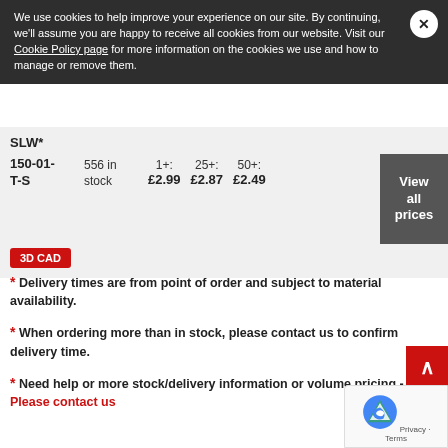We use cookies to help improve your experience on our site. By continuing, we'll assume you are happy to receive all cookies from our website. Visit our Cookie Policy page for more information on the cookies we use and how to manage or remove them.
SLW*
| Part | Stock | 1+ | 25+ | 50+ |
| --- | --- | --- | --- | --- |
| 150-01-T-S | 556 in stock | £2.99 | £2.87 | £2.49 |
* Delivery times are from point of order and subject to material availability.
* When ordering more than in stock, please contact us to confirm delivery time.
* Need help or more stock/delivery information or volume pricing - Please contact us